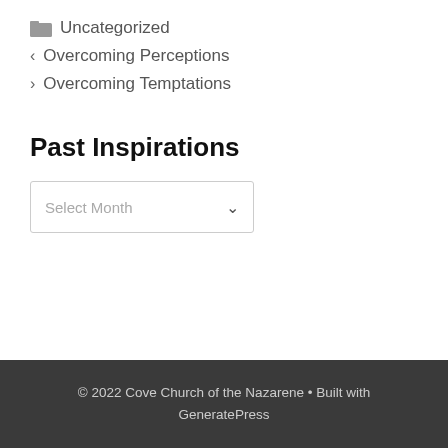📁 Uncategorized
< Overcoming Perceptions
> Overcoming Temptations
Past Inspirations
[Figure (other): A dropdown select box with 'Select Month' placeholder and a chevron arrow]
© 2022 Cove Church of the Nazarene • Built with GeneratePress